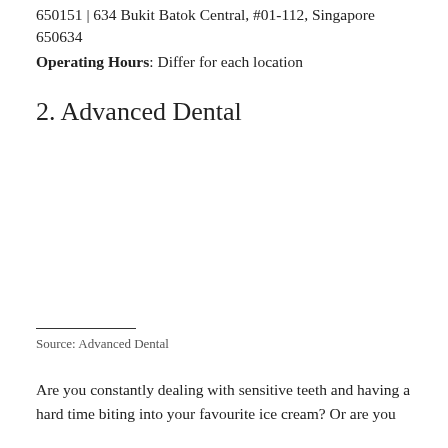650151 | 634 Bukit Batok Central, #01-112, Singapore 650634
Operating Hours: Differ for each location
2. Advanced Dental
[Figure (photo): Photo of Advanced Dental clinic]
Source: Advanced Dental
Are you constantly dealing with sensitive teeth and having a hard time biting into your favourite ice cream? Or are you